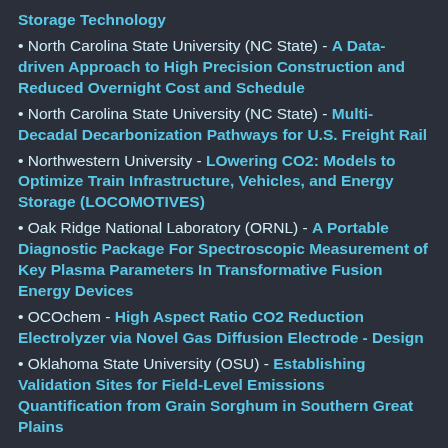Storage Technology
North Carolina State University (NC State) - A Data-driven Approach to High Precision Construction and Reduced Overnight Cost and Schedule
North Carolina State University (NC State) - Multi-Decadal Decarbonization Pathways for U.S. Freight Rail
Northwestern University - LOwering CO2: Models to Optimize Train Infrastructure, Vehicles, and Energy Storage (LOCOMOTIVES)
Oak Ridge National Laboratory (ORNL) - A Portable Diagnostic Package For Spectroscopic Measurement of Key Plasma Parameters In Transformative Fusion Energy Devices
OCOchem - High Aspect Ratio CO2 Reduction Electrolyzer via Novel Gas Diffusion Electrode - Design
Oklahoma State University (OSU) - Establishing Validation Sites for Field-Level Emissions Quantification from Grain Sorghum in Southern Great Plains